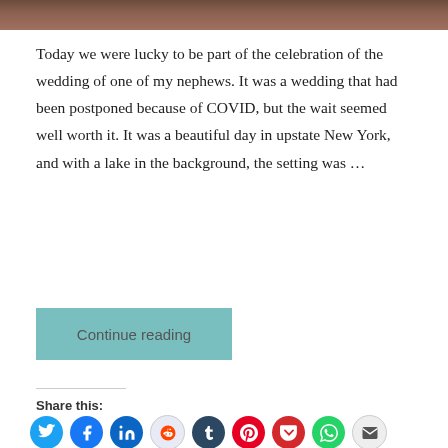[Figure (photo): Top portion of a photo showing people at a wedding, cropped at the top of the page]
Today we were lucky to be part of the celebration of the wedding of one of my nephews. It was a wedding that had been postponed because of COVID, but the wait seemed well worth it. It was a beautiful day in upstate New York, and with a lake in the background, the setting was …
Continue reading
Share this: